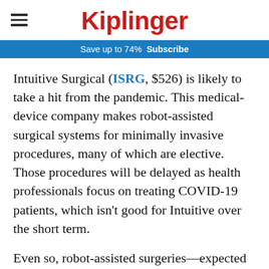Kiplinger
Save up to 74%  Subscribe
Intuitive Surgical (ISRG, $526) is likely to take a hit from the pandemic. This medical-device company makes robot-assisted surgical systems for minimally invasive procedures, many of which are elective. Those procedures will be delayed as health professionals focus on treating COVID-19 patients, which isn't good for Intuitive over the short term.
Even so, robot-assisted surgeries—expected to increase in number by 13% to 16% a year over the next three years—aren't going to go away, and